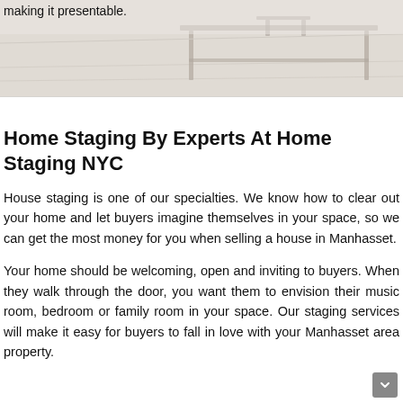[Figure (photo): Partial view of a room interior with furniture silhouette (table/desk) on a light beige background, with text 'making it presentable.' at top left]
Home Staging By Experts At Home Staging NYC
House staging is one of our specialties. We know how to clear out your home and let buyers imagine themselves in your space, so we can get the most money for you when selling a house in Manhasset.
Your home should be welcoming, open and inviting to buyers. When they walk through the door, you want them to envision their music room, bedroom or family room in your space. Our staging services will make it easy for buyers to fall in love with your Manhasset area property.